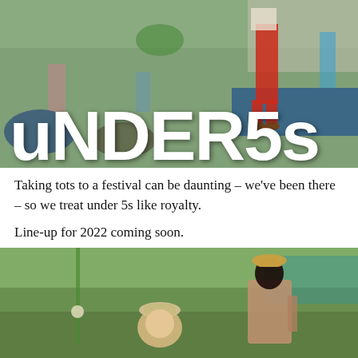[Figure (photo): Outdoor festival scene with children playing, one child in red trousers standing on a platform, crowd in background, overlaid with large bold white text 'uNDER5s']
Taking tots to a festival can be daunting – we've been there – so we treat under 5s like royalty.

Line-up for 2022 coming soon.
[Figure (photo): Mother with tattoos wearing a hat sits outdoors on grass at a festival, with a young child in a sun hat in the foreground]